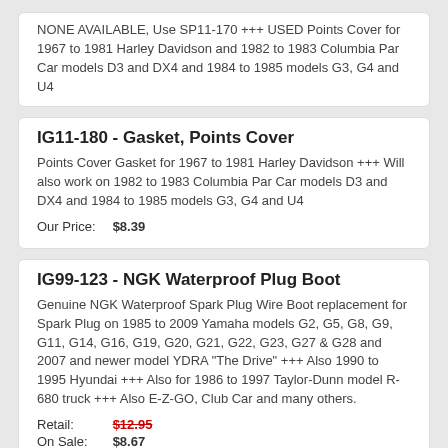NONE AVAILABLE, Use SP11-170 +++ USED Points Cover for 1967 to 1981 Harley Davidson and 1982 to 1983 Columbia Par Car models D3 and DX4 and 1984 to 1985 models G3, G4 and U4
IG11-180 - Gasket, Points Cover
Points Cover Gasket for 1967 to 1981 Harley Davidson +++ Will also work on 1982 to 1983 Columbia Par Car models D3 and DX4 and 1984 to 1985 models G3, G4 and U4
Our Price: $8.39
IG99-123 - NGK Waterproof Plug Boot
Genuine NGK Waterproof Spark Plug Wire Boot replacement for Spark Plug on 1985 to 2009 Yamaha models G2, G5, G8, G9, G11, G14, G16, G19, G20, G21, G22, G23, G27 & G28 and 2007 and newer model YDRA "The Drive" +++ Also 1990 to 1995 Hyundai +++ Also for 1986 to 1997 Taylor-Dunn model R-680 truck +++ Also E-Z-GO, Club Car and many others.
Retail: $12.95
On Sale: $8.67
You Save: 34%
IG11-262 - Ignition Rotor, NLA
NO LONGER AVAILABLE +++ Ignition Rotor for 1982 to 1984